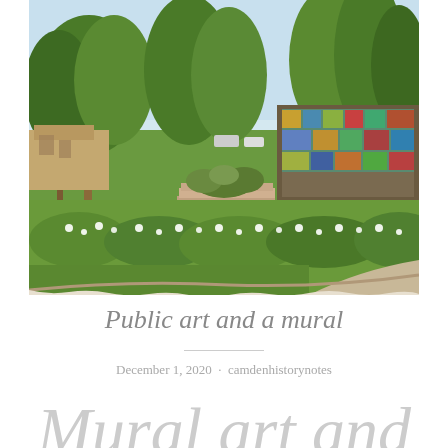[Figure (photo): Outdoor park scene with lush green lawn, flowering hedges, a circular raised garden bed with plants in the center, tall eucalyptus trees in the background, and a large colorful mosaic mural on a stone wall to the right.]
Public art and a mural
December 1, 2020 · camdenhistorynotes
Mural art and